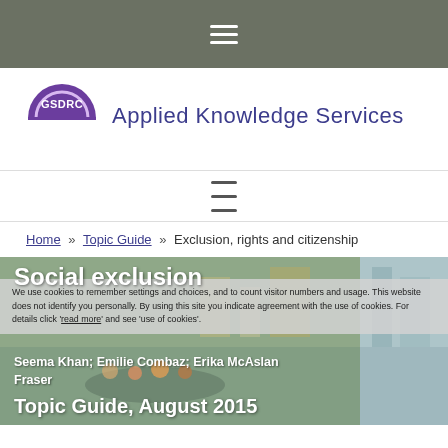☰
[Figure (logo): GSDRC Applied Knowledge Services logo — purple semicircle with GSDRC text, followed by 'Applied Knowledge Services' in blue/purple text]
[Figure (other): Hamburger/menu icon (three horizontal lines) in grey]
Home » Topic Guide » Exclusion, rights and citizenship
[Figure (photo): Hero image with photo of people in a boat on water, overlaid with cookie notice and publication details. Title: Social exclusion. Authors: Seema Khan; Emilie Combaz; Erika McAslan Fraser. Date: Topic Guide, August 2015. Cookie overlay text: We use cookies to remember settings and choices, and to count visitor numbers and usage. This website does not identify you personally. By using this site you indicate agreement with the use of cookies. For details click 'read more' and see 'use of cookies'.]
Social exclusion
Seema Khan; Emilie Combaz; Erika McAslan Fraser
Topic Guide, August 2015